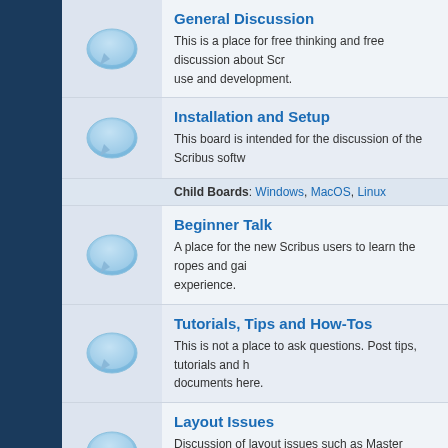[Figure (screenshot): Forum category listing for Scribus software community showing sections: General Discussion, Installation and Setup (with Child Boards: Windows, MacOS, Linux), Beginner Talk, Tutorials Tips and How-Tos, Layout Issues, Text and Typography, Raster and Vector Graphics]
General Discussion
This is a place for free thinking and free discussion about Scribus use and development.
Installation and Setup
This board is intended for the discussion of the Scribus software
Child Boards: Windows, MacOS, Linux
Beginner Talk
A place for the new Scribus users to learn the ropes and gain experience.
Tutorials, Tips and How-Tos
This is not a place to ask questions. Post tips, tutorials and how-to documents here.
Layout Issues
Discussion of layout issues such as Master Pages, Layers, F... positioning, Brochures, etc.
Text and Typography
This is a place for discussion of the Scribus text formatting, fo... and other issues related to typography.
Raster and Vector Graphics